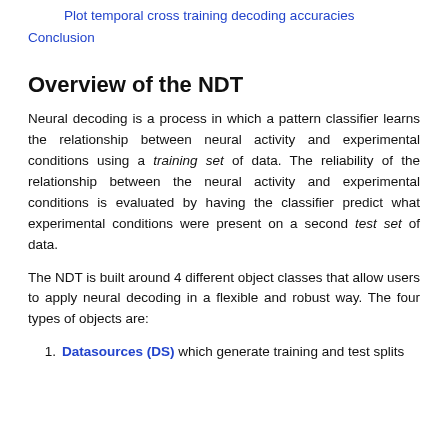Plot temporal cross training decoding accuracies
Conclusion
Overview of the NDT
Neural decoding is a process in which a pattern classifier learns the relationship between neural activity and experimental conditions using a training set of data. The reliability of the relationship between the neural activity and experimental conditions is evaluated by having the classifier predict what experimental conditions were present on a second test set of data.
The NDT is built around 4 different object classes that allow users to apply neural decoding in a flexible and robust way. The four types of objects are:
Datasources (DS) which generate training and test splits